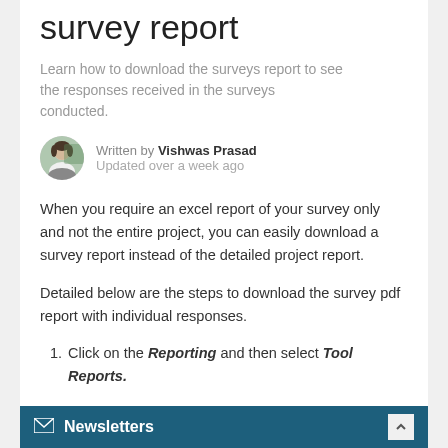survey report
Learn how to download the surveys report to see the responses received in the surveys conducted.
Written by Vishwas Prasad
Updated over a week ago
When you require an excel report of your survey only and not the entire project, you can easily download a survey report instead of the detailed project report.
Detailed below are the steps to download the survey pdf report with individual responses.
Click on the Reporting and then select Tool Reports.
Newsletters